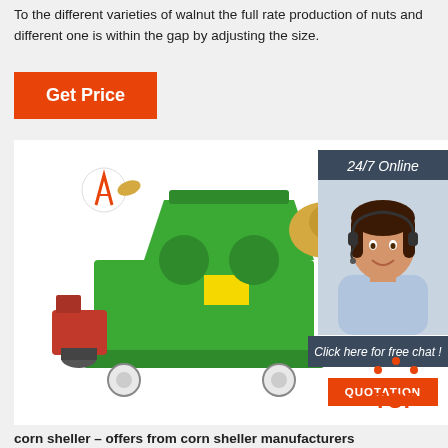To the different varieties of walnut the full rate production of nuts and different one is within the gap by adjusting the size.
[Figure (other): Orange 'Get Price' button with text overlay]
[Figure (photo): Green corn sheller / thresher machine with red engine, on wheels, with company logo. Overlaid: 24/7 Online badge with woman in headset, 'Click here for free chat!' text, orange QUOTATION button, and orange TOP badge at bottom right.]
corn sheller – offers from corn sheller manufacturers